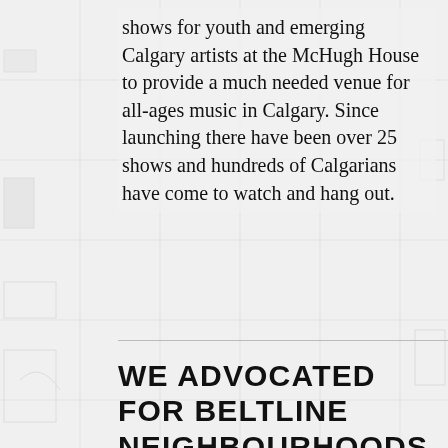shows for youth and emerging Calgary artists at the McHugh House to provide a much needed venue for all-ages music in Calgary. Since launching there have been over 25 shows and hundreds of Calgarians have come to watch and hang out.
WE ADVOCATED FOR BELTLINE NEIGHBOURHOODS...